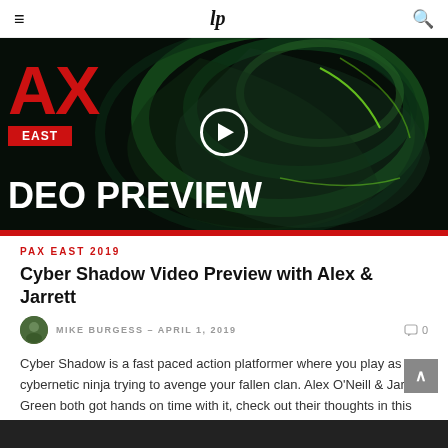≡  /p  🔍
[Figure (screenshot): PAX East 2019 video preview thumbnail showing stylized green and dark artwork with red PAX logo letters, EAST badge, 'DEO PREVIEW' text in white, and a circular play button overlay. Red bar at bottom.]
PAX EAST 2019
Cyber Shadow Video Preview with Alex & Jarrett
MIKE BURGESS - APRIL 1, 2019  💬 0
Cyber Shadow is a fast paced action platformer where you play as a cybernetic ninja trying to avenge your fallen clan. Alex O'Neill & Jarrett Green both got hands on time with it, check out their thoughts in this video!